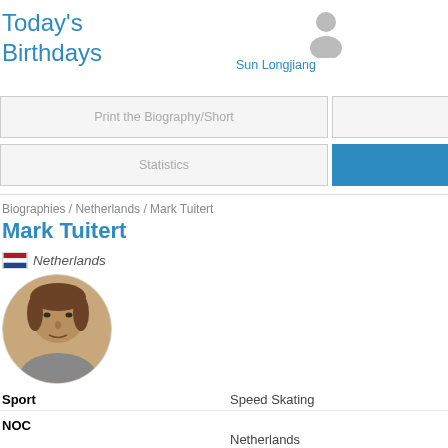Today's Birthdays
Sun Longjiang
Linus Heidegger
Grae...
Print the Biography/Short
Records
Statistics
Biographies
Biographies / Netherlands / Mark Tuitert
Mark Tuitert
Netherlands
[Figure (photo): Circular portrait photo of Mark Tuitert, a male athlete with medium-length brown hair]
Sport   Speed Skating
NOC   Netherlands
Born